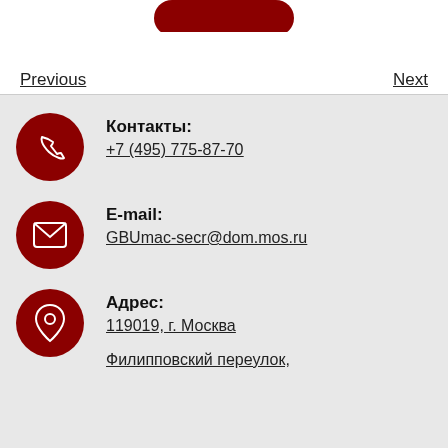[Figure (illustration): Partial red rounded button/shape at very top center of page]
Previous
Next
Контакты:
+7 (495) 775-87-70
E-mail:
GBUmac-secr@dom.mos.ru
Адрес:
119019, г. Москва
Филипповский переулок,